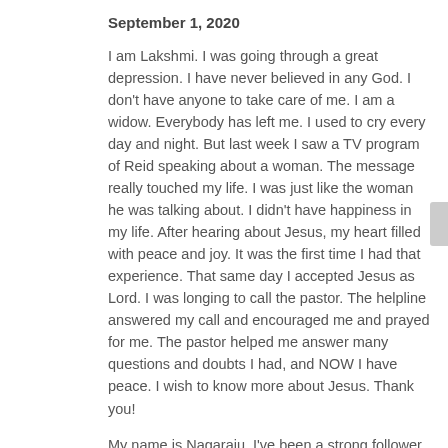September 1, 2020
I am Lakshmi. I was going through a great depression. I have never believed in any God. I don't have anyone to take care of me. I am a widow. Everybody has left me. I used to cry every day and night. But last week I saw a TV program of Reid speaking about a woman. The message really touched my life. I was just like the woman he was talking about. I didn't have happiness in my life. After hearing about Jesus, my heart filled with peace and joy. It was the first time I had that experience. That same day I accepted Jesus as Lord. I was longing to call the pastor. The helpline answered my call and encouraged me and prayed for me. The pastor helped me answer many questions and doubts I had, and NOW I have peace. I wish to know more about Jesus. Thank you!
My name is Nagaraju. I've been a strong follower of Hindu Gods, but really confused about what will happen after death. I never heard about Jesus. But last week